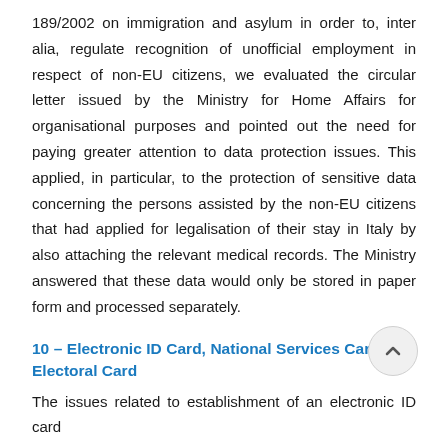189/2002 on immigration and asylum in order to, inter alia, regulate recognition of unofficial employment in respect of non-EU citizens, we evaluated the circular letter issued by the Ministry for Home Affairs for organisational purposes and pointed out the need for paying greater attention to data protection issues. This applied, in particular, to the protection of sensitive data concerning the persons assisted by the non-EU citizens that had applied for legalisation of their stay in Italy by also attaching the relevant medical records. The Ministry answered that these data would only be stored in paper form and processed separately.
10 – Electronic ID Card, National Services Card, and Electoral Card
The issues related to establishment of an electronic ID card